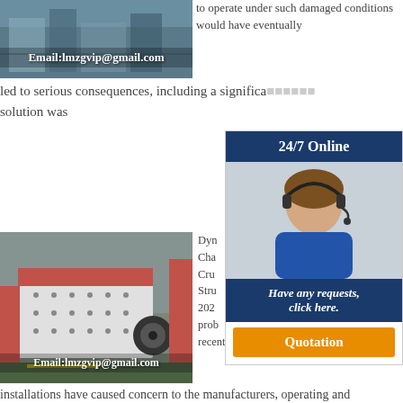[Figure (photo): Industrial machinery/factory interior with email overlay: Email:lmzgvip@gmail.com]
to operate under such damaged conditions would have eventually led to serious consequences, including a significa... solution was
[Figure (infographic): 24/7 Online customer service sidebar with headset woman photo, 'Have any requests, click here.' message, and Quotation button]
[Figure (photo): Large industrial impact crusher/jaw crusher machine in factory, with Email:lmzgvip@gmail.com overlay]
Dyn... Cha... Cru... Stru... 202... prob... recently from such installations have caused concern to the manufacturers, operating and maintenance personnel as well designers of supporting structures for these machinery. In some cases, misuse of operations seem to have led excessive vibration problems in these